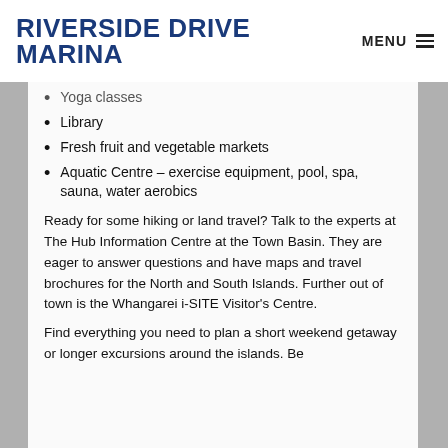RIVERSIDE DRIVE MARINA
Yoga classes
Library
Fresh fruit and vegetable markets
Aquatic Centre – exercise equipment, pool, spa, sauna, water aerobics
Ready for some hiking or land travel? Talk to the experts at The Hub Information Centre at the Town Basin. They are eager to answer questions and have maps and travel brochures for the North and South Islands. Further out of town is the Whangarei i-SITE Visitor's Centre.
Find everything you need to plan a short weekend getaway or longer excursions around the islands. Be